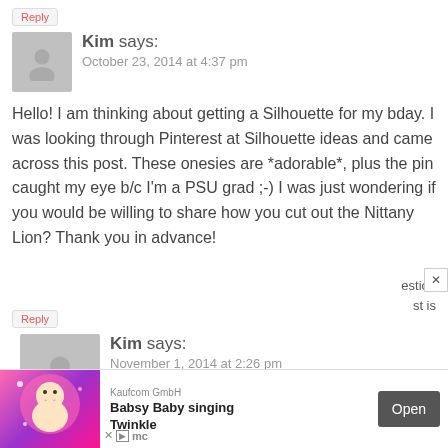Reply
Kim says:
October 23, 2014 at 4:37 pm
Hello! I am thinking about getting a Silhouette for my bday. I was looking through Pinterest at Silhouette ideas and came across this post. These onesies are *adorable*, plus the pin caught my eye b/c I'm a PSU grad ;-) I was just wondering if you would be willing to share how you cut out the Nittany Lion? Thank you in advance!
Reply
Kim says:
November 1, 2014 at 2:26 pm
I bought the Cameo (eek!) and figured out how to cut the PSU logo. It was my first cut,
[Figure (infographic): Advertisement banner: Kaufcom GmbH - Babsy Baby singing Twinkle, with Open button]